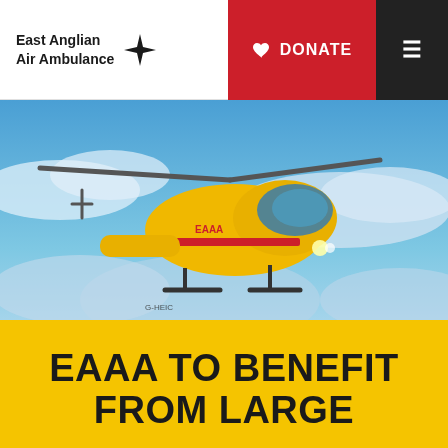[Figure (logo): East Anglian Air Ambulance logo with text and cross/star symbol]
[Figure (photo): Yellow air ambulance helicopter flying against a blue cloudy sky]
EAAA TO BENEFIT FROM LARGE